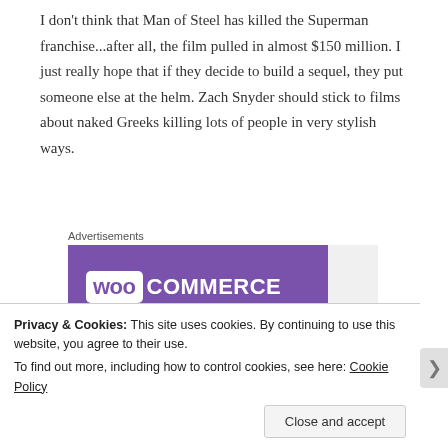I don't think that Man of Steel has killed the Superman franchise...after all, the film pulled in almost $150 million. I just really hope that if they decide to build a sequel, they put someone else at the helm. Zach Snyder should stick to films about naked Greeks killing lots of people in very stylish ways.
Advertisements
[Figure (illustration): WooCommerce advertisement banner with purple background showing WooCommerce logo, teal triangle in lower left, light blue circle in lower right, and text 'How to start selling']
Privacy & Cookies: This site uses cookies. By continuing to use this website, you agree to their use. To find out more, including how to control cookies, see here: Cookie Policy
Close and accept